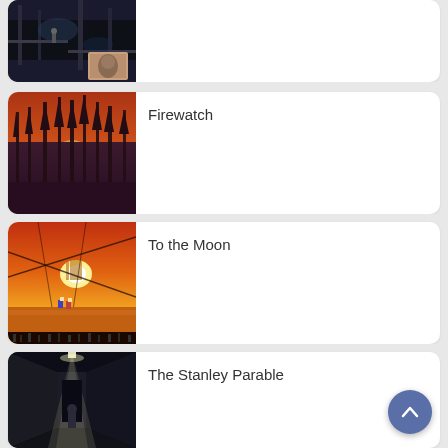[Figure (screenshot): Partial game card at top showing a dark, moody game screenshot with industrial/underground setting]
[Figure (screenshot): Firewatch game card with orange/red sunset forest scene]
Firewatch
[Figure (screenshot): To the Moon game card with retro RPG sunset scene, yellow sky with suspension wires]
To the Moon
[Figure (screenshot): The Stanley Parable game card showing dark corridor with figure and spotlight]
The Stanley Parable